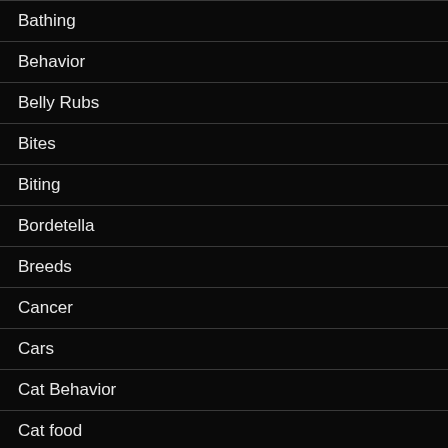Bathing
Behavior
Belly Rubs
Bites
Biting
Bordetella
Breeds
Cancer
Cars
Cat Behavior
Cat food
Cat's intelligence